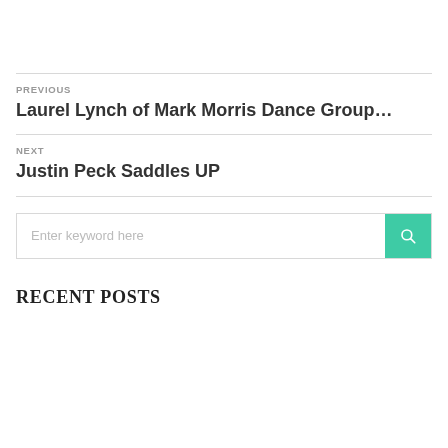PREVIOUS
Laurel Lynch of Mark Morris Dance Group…
NEXT
Justin Peck Saddles UP
Enter keyword here
RECENT POSTS